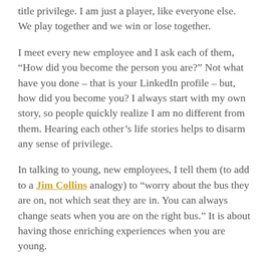title privilege. I am just a player, like everyone else. We play together and we win or lose together.
I meet every new employee and I ask each of them, “How did you become the person you are?” Not what have you done – that is your LinkedIn profile – but, how did you become you? I always start with my own story, so people quickly realize I am no different from them. Hearing each other’s life stories helps to disarm any sense of privilege.
In talking to young, new employees, I tell them (to add to a Jim Collins analogy) to “worry about the bus they are on, not which seat they are in. You can always change seats when you are on the right bus.” It is about having those enriching experiences when you are young.
Every soul matters